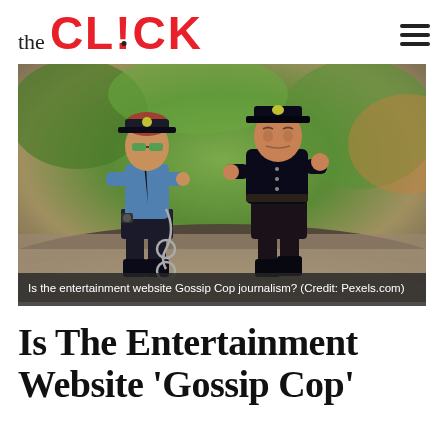the CLICK
[Figure (photo): Two cartoon-style police figurines standing together on a stone surface. The female officer on the left wears a blue shirt, black pants, and green sunglasses, holding handcuffs. The male officer on the right is in a dark uniform and hat, gesturing with one hand. Green trees are blurred in the background.]
Is the entertainment website Gossip Cop journalism? (Credit: Pexels.com)
Is The Entertainment Website ‘Gossip Cop’